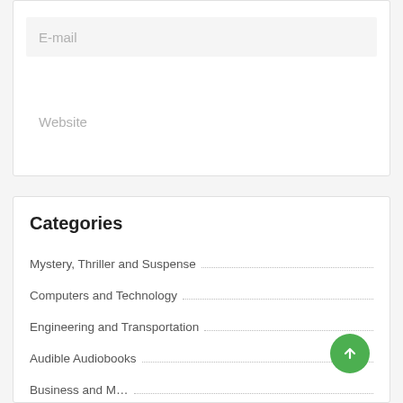E-mail
Website
Categories
Mystery, Thriller and Suspense
Computers and Technology
Engineering and Transportation
Audible Audiobooks
Business and M…